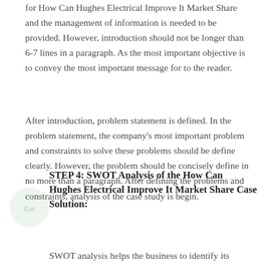for How Can Hughes Electrical Improve It Market Share and the management of information is needed to be provided. However, introduction should not be longer than 6-7 lines in a paragraph. As the most important objective is to convey the most important message for to the reader.
After introduction, problem statement is defined. In the problem statement, the company's most important problem and constraints to solve these problems should be define clearly. However, the problem should be concisely define in no more than a paragraph. After defining the problems and constraints, analysis of the case study is begin.
STEP 4: SWOT Analysis of the How Can Hughes Electrical Improve It Market Share Case Solution:
SWOT analysis helps the business to identify its